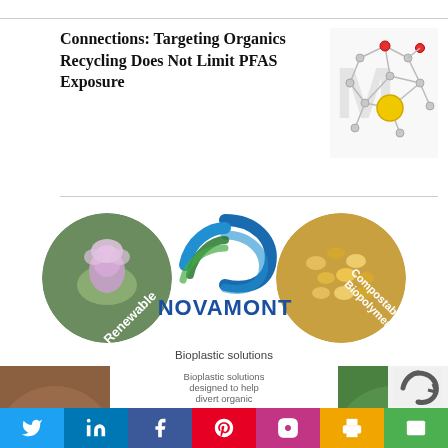Connections: Targeting Organics Recycling Does Not Limit PFAS Exposure
[Figure (illustration): Molecular network diagram showing colored nodes (red, yellow, grey) connected by lines representing chemical/molecular connections, on a white background]
[Figure (logo): Novamont advertisement featuring: circular photo of a thistle flower labeled 'Renewable', circular photo of yellow biopolymer pellets labeled 'Compostable Biopolymers', Novamont swirl logo in blue and green, NOVAMONT brand name in blue, and text 'Bioplastic solutions designed to help divert organic']
Twitter | LinkedIn | Facebook | Pinterest | Instagram | Print | Email